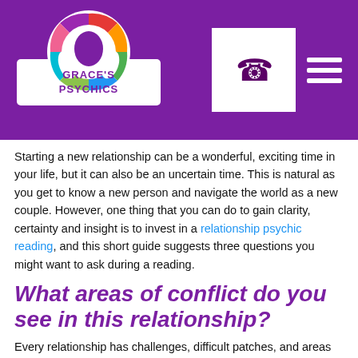[Figure (logo): Grace's Psychics logo with colorful arc of tarot cards on top and two hands below, inside a circle, with 'GRACE'S PSYCHICS' text in a banner]
[Figure (other): White square phone button with purple phone handset icon]
[Figure (other): Hamburger menu icon with three white horizontal lines on purple background]
Starting a new relationship can be a wonderful, exciting time in your life, but it can also be an uncertain time. This is natural as you get to know a new person and navigate the world as a new couple. However, one thing that you can do to gain clarity, certainty and insight is to invest in a relationship psychic reading, and this short guide suggests three questions you might want to ask during a reading.
What areas of conflict do you see in this relationship?
Every relationship has challenges, difficult patches, and areas of conflict, but a psychic reading will be able to give you an idea of what these challenges might be in advance. The reasons that couples fight or break up vary from financial problems to infidelity